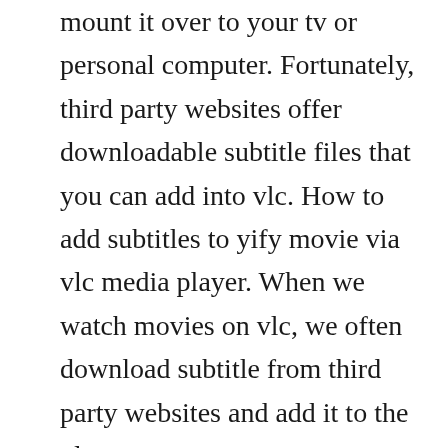mount it over to your tv or personal computer. Fortunately, third party websites offer downloadable subtitle files that you can add into vlc. How to add subtitles to yify movie via vlc media player. When we watch movies on vlc, we often download subtitle from third party websites and add it to the vlc.
Merge your subtitles with movie file vlc media player vs. Open vlc and head over to the view option from the menu bar. Vlsub is available on developers github, or vlc addons website. Its not that you can search subtitles only in english. Once you download and